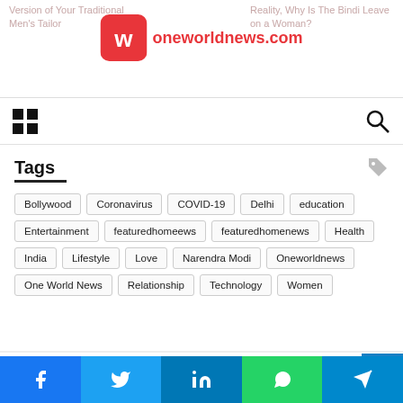[Figure (logo): OneWorldNews.com logo with red rounded square icon and red text]
Tags
Bollywood
Coronavirus
COVID-19
Delhi
education
Entertainment
featuredhomeews
featuredhomenews
Health
India
Lifestyle
Love
Narendra Modi
Oneworldnews
One World News
Relationship
Technology
Women
Recent Post